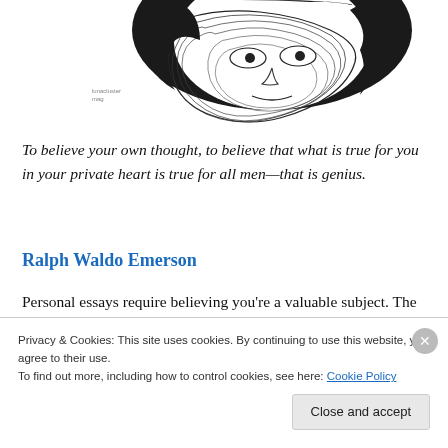[Figure (illustration): Black and white line art illustration of a stylized face with swirling/contour lines, partially cropped at top, with small handwritten-style text 'lunacluster mag' in lower left area of the image.]
To believe your own thought, to believe that what is true for you in your private heart is true for all men—that is genius.
Ralph Waldo Emerson
Personal essays require believing you're a valuable subject. The principle justification for writing about yourself comes from the granddaddy of personal essayists, Michel
Privacy & Cookies: This site uses cookies. By continuing to use this website, you agree to their use.
To find out more, including how to control cookies, see here: Cookie Policy
Close and accept